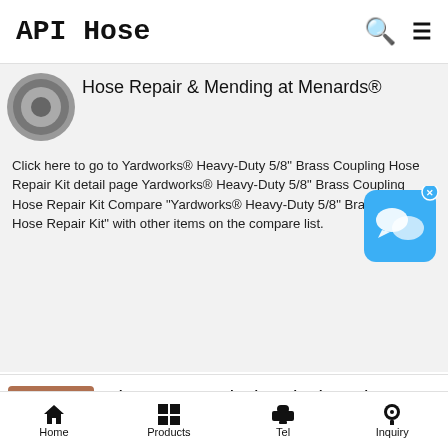API Hose
[Figure (photo): Circular thumbnail image of a hose/product (partially visible)]
Hose Repair & Mending at Menards®
Click here to go to Yardworks® Heavy-Duty 5/8" Brass Coupling Hose Repair Kit detail page Yardworks® Heavy-Duty 5/8" Brass Coupling Hose Repair Kit Compare "Yardworks® Heavy-Duty 5/8" Brass Coupling Hose Repair Kit" with other items on the compare list.
[Figure (screenshot): Blue chat/messaging app icon widget with X close button]
[Figure (photo): Thumbnail image of orange/copper hoses and fittings]
Ultra-Pure and Chemical Resistant Hoses and Fittings - PureFlex
Home   Products   Tel   Inquiry